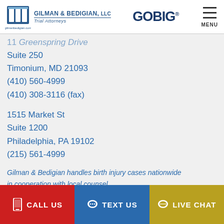GILMAN & BEDIGIAN, LLC Trial Attorneys | GOBIG® | MENU
Suite 250
Timonium, MD 21093
(410) 560-4999
(410) 308-3116 (fax)
1515 Market St
Suite 1200
Philadelphia, PA 19102
(215) 561-4999
Gilman & Bedigian handles birth injury cases nationwide in cooperation with local counsel.
CALL US | TEXT US | LIVE CHAT